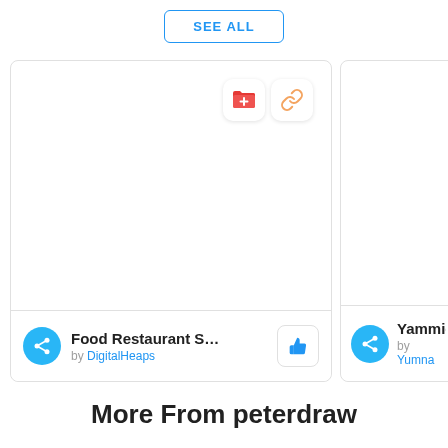SEE ALL
[Figure (screenshot): Two UI cards side by side. Left card shows an orange folder icon button and a chain-link icon button in top right. Footer shows a cyan share icon, 'Food Restaurant Soci...' title, 'by DigitalHeaps' in blue, and a thumbs-up button. Right card partially visible shows cyan share icon, 'Yammie' title, 'by Yumna' in blue.]
More From peterdraw